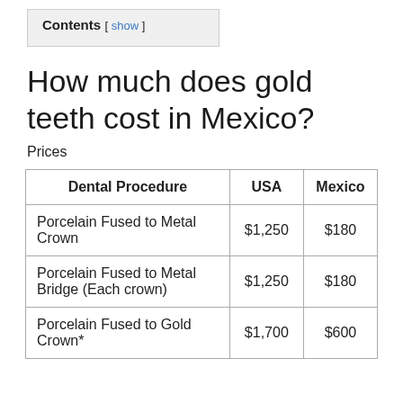Contents [ show ]
How much does gold teeth cost in Mexico?
Prices
| Dental Procedure | USA | Mexico |
| --- | --- | --- |
| Porcelain Fused to Metal Crown | $1,250 | $180 |
| Porcelain Fused to Metal Bridge (Each crown) | $1,250 | $180 |
| Porcelain Fused to Gold Crown* | $1,700 | $600 |